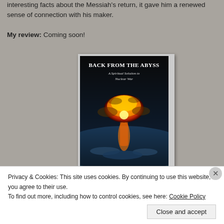interesting facts about the Messiah's return, it gave him a renewed sense of connection with his maker.
My review: Coming soon!
[Figure (photo): Book cover of 'Back from the Abyss: A Spiritual Solution to Nuclear War' by Robert Margetts. Dark background with a mushroom cloud explosion image. Title in bold white text at top, author name at bottom.]
Privacy & Cookies: This site uses cookies. By continuing to use this website, you agree to their use.
To find out more, including how to control cookies, see here: Cookie Policy
Close and accept